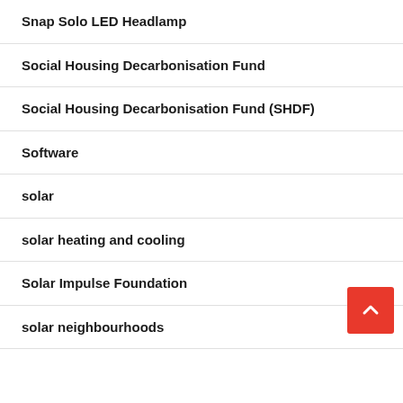Snap Solo LED Headlamp
Social Housing Decarbonisation Fund
Social Housing Decarbonisation Fund (SHDF)
Software
solar
solar heating and cooling
Solar Impulse Foundation
solar neighbourhoods